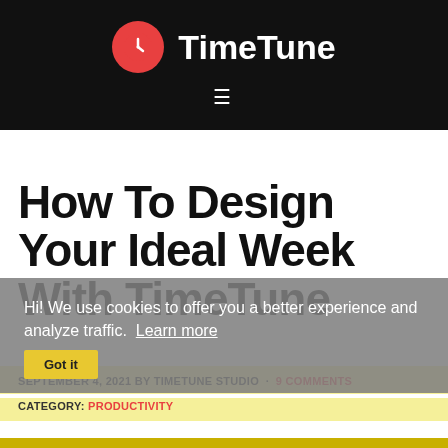TimeTune
How To Design Your Ideal Week With TimeTune
Hi! We use cookies to offer you a better experience and analyze traffic. Learn more
SEPTEMBER 4, 2021 BY TIMETUNE STUDIO · 9 COMMENTS
CATEGORY: PRODUCTIVITY